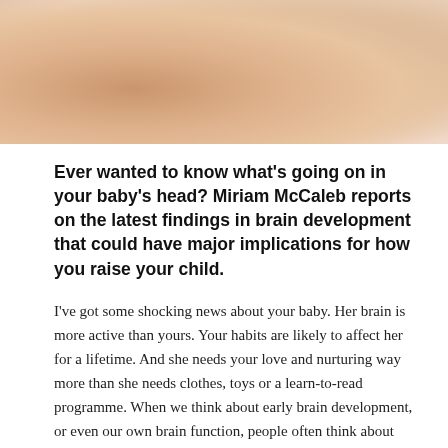[Figure (photo): Close-up photo of a baby's skin and hands, soft warm tones]
Ever wanted to know what's going on in your baby's head? Miriam McCaleb reports on the latest findings in brain development that could have major implications for how you raise your child.
I've got some shocking news about your baby. Her brain is more active than yours. Your habits are likely to affect her for a lifetime. And she needs your love and nurturing way more than she needs clothes, toys or a learn-to-read programme. When we think about early brain development, or even our own brain function, people often think about school success, high test scores or university scholarships. We hear "brain" and we think "brainy".